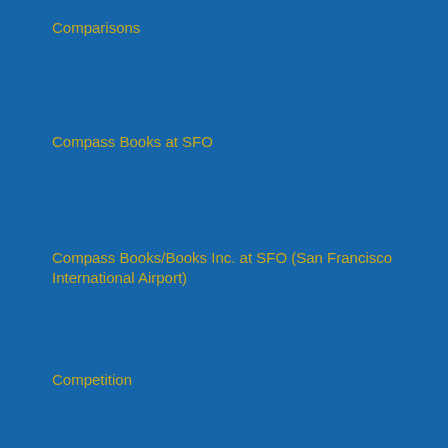Comparisons
Compass Books at SFO
Compass Books/Books Inc. at SFO (San Francisco International Airport)
Competition
Competitive Advantage
competitive advantage
Competitive Edge
Complexity
CompTIA (A+, Cloud+, Security+)